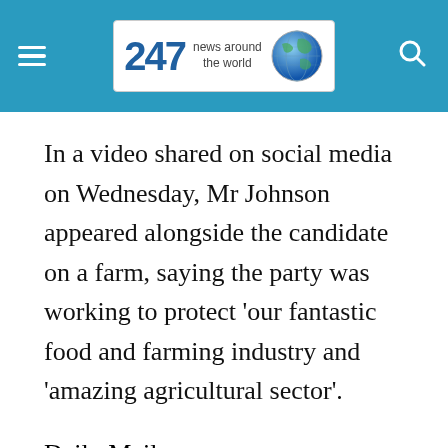247 news around the world
In a video shared on social media on Wednesday, Mr Johnson appeared alongside the candidate on a farm, saying the party was working to protect ‘our fantastic food and farming industry and ‘amazing agricultural sector’.
Daily Mail